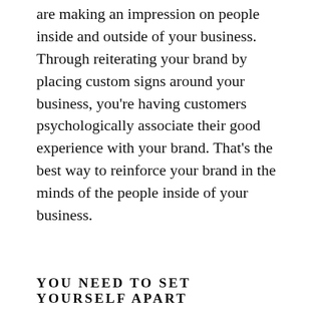are making an impression on people inside and outside of your business. Through reiterating your brand by placing custom signs around your business, you're having customers psychologically associate their good experience with your brand. That's the best way to reinforce your brand in the minds of the people inside of your business.
YOU NEED TO SET YOURSELF APART
If you want for people to engage with your brand, you need more than just a name. You need an entire logo that reflects the values of your brand. Your branding needs to be an entire visual experience, not just something